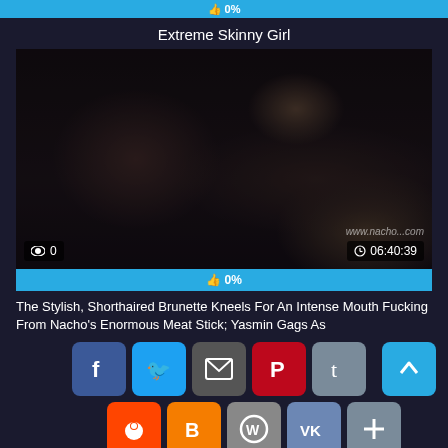0%
Extreme Skinny Girl
[Figure (photo): Dark video thumbnail showing a scene. Overlay shows view count 0 on bottom left and duration 06:40:39 on bottom right. Watermark: www.nacho...com]
0%
The Stylish, Shorthaired Brunette Kneels For An Intense Mouth Fucking From Nacho's Enormous Meat Stick; Yasmin Gags As
[Figure (infographic): Social share buttons row 1: Facebook, Twitter, Email, Pinterest, Tumblr, and scroll-up arrow button]
[Figure (infographic): Social share buttons row 2: Reddit, Blogger, WordPress, VK, More]
[Figure (photo): Bottom video thumbnail, dark/black]